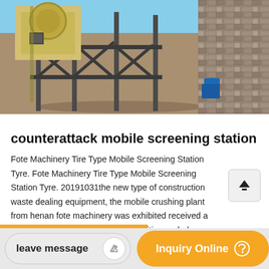[Figure (photo): Photo of a counterattack mobile screening station machine with metal frame structure on a construction site, with stone wall on the right and blue sky visible at top]
counterattack mobile screening station
Fote Machinery Tire Type Mobile Screening Station Tyre. Fote Machinery Tire Type Mobile Screening Station Tyre. 20191031the new type of construction waste dealing equipment, the mobile crushing plant from henan fote machinery was exhibited received a good reputationhe aggregates exhibition ended sucessfullyonstruction waste disposal has been one of the focal points in mining machinery.